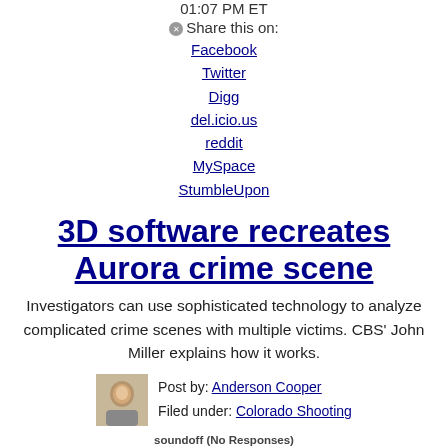01:07 PM ET
Share this on:
Facebook
Twitter
Digg
del.icio.us
reddit
MySpace
StumbleUpon
3D software recreates Aurora crime scene
Investigators can use sophisticated technology to analyze complicated crime scenes with multiple victims. CBS' John Miller explains how it works.
Post by: Anderson Cooper
Filed under: Colorado Shooting
soundoff (No Responses)